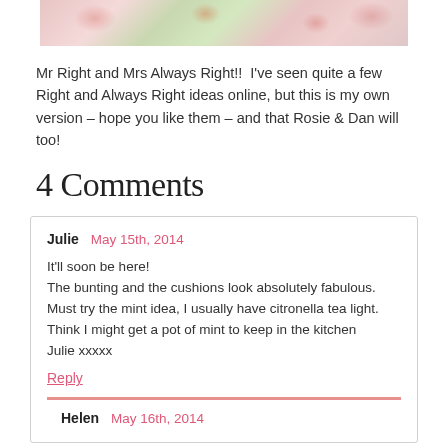[Figure (photo): Floral fabric/cushions with red roses and green leaves pattern, cropped strip at top of page]
Mr Right and Mrs Always Right!!  I've seen quite a few Right and Always Right ideas online, but this is my own version – hope you like them – and that Rosie & Dan will too!
4 Comments
Julie   May 15th, 2014

It'll soon be here!
The bunting and the cushions look absolutely fabulous.
Must try the mint idea, I usually have citronella tea light. Think I might get a pot of mint to keep in the kitchen
Julie xxxxx
Reply
Helen   May 16th, 2014